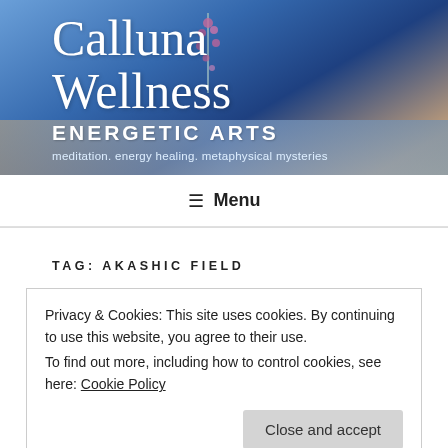[Figure (illustration): Website header banner with blue sky gradient background and pink flower decoration. Shows 'Calluna Wellness' in large serif white text, 'ENERGETIC ARTS' in bold white caps, and tagline 'meditation. energy healing. metaphysical mysteries' beneath.]
Calluna Wellness
ENERGETIC ARTS
meditation. energy healing. metaphysical mysteries
☰ Menu
TAG: AKASHIC FIELD
Privacy & Cookies: This site uses cookies. By continuing to use this website, you agree to their use.
To find out more, including how to control cookies, see here: Cookie Policy
Close and accept